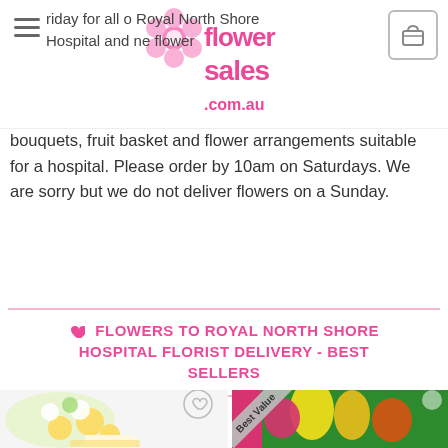flower sales .com.au
riday for all orders to Royal North Shore Hospital and next day delivery. We deliver flower bouquets, fruit basket and flower arrangements suitable for a hospital. Please order by 10am on Saturdays. We are sorry but we do not deliver flowers on a Sunday.
FLOWERS TO ROYAL NORTH SHORE HOSPITAL FLORIST DELIVERY - BEST SELLERS
[Figure (photo): Yellow and white flower bouquet arrangement in a white vase with yellow ribbon]
[Figure (photo): Florist Choice Bouquet In Colourful Warm Theme - showing orange, yellow, pink and red flowers with Best Value banner, product title text, and orange roses at bottom]